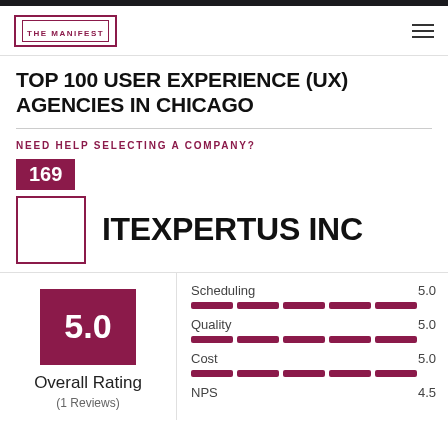THE MANIFEST
TOP 100 USER EXPERIENCE (UX) AGENCIES IN CHICAGO
NEED HELP SELECTING A COMPANY?
169
ITEXPERTUS INC
| Category | Score |
| --- | --- |
| Scheduling | 5.0 |
| Quality | 5.0 |
| Cost | 5.0 |
| NPS | 4.5 |
5.0
Overall Rating
(1 Reviews)